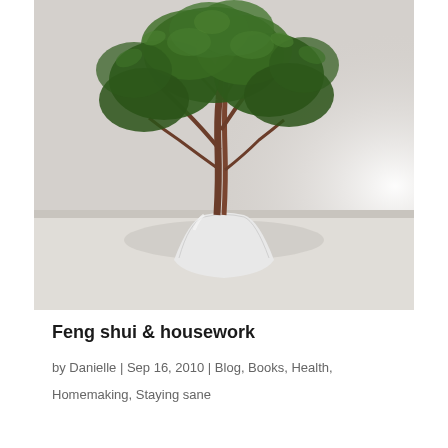[Figure (photo): A potted ficus/bonsai tree with dark green leaves in a white cylindrical pot, placed on a white surface against a light grey/white wall with bright light from the right side.]
Feng shui & housework
by Danielle | Sep 16, 2010 | Blog, Books, Health,
Homemaking, Staying sane